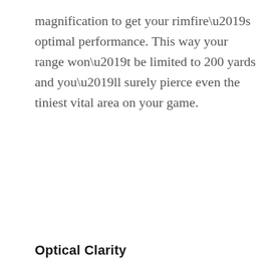magnification to get your rimfire’s optimal performance. This way your range won’t be limited to 200 yards and you’ll surely pierce even the tiniest vital area on your game.
Optical Clarity